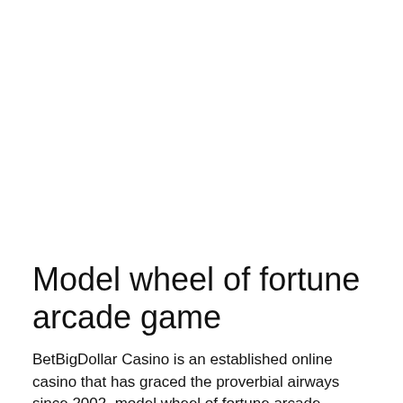Model wheel of fortune arcade game
BetBigDollar Casino is an established online casino that has graced the proverbial airways since 2002, model wheel of fortune arcade game. Fast Payouts US Players